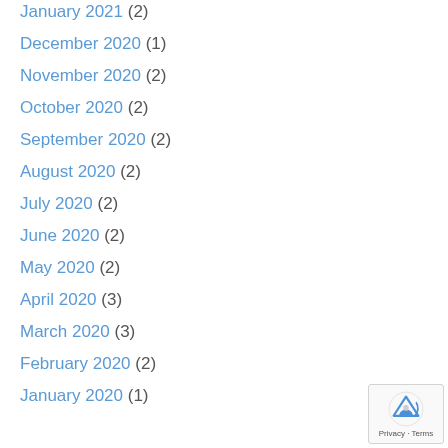January 2021 (2)
December 2020 (1)
November 2020 (2)
October 2020 (2)
September 2020 (2)
August 2020 (2)
July 2020 (2)
June 2020 (2)
May 2020 (2)
April 2020 (3)
March 2020 (3)
February 2020 (2)
January 2020 (1)